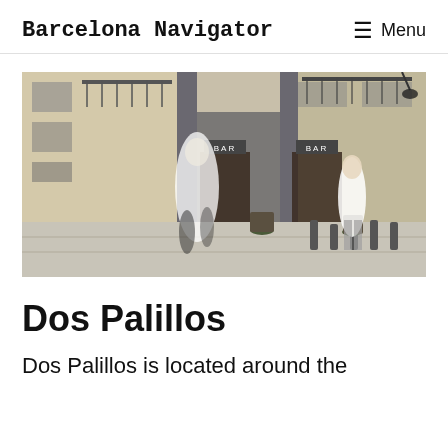Barcelona Navigator   ≡ Menu
[Figure (photo): Street-level exterior photo of Dos Palillos bar in Barcelona. Two bar entrances visible with 'BAR' signage on grey facades. A blurred pedestrian walks in the foreground; another man stands further back. Stone-clad building facades, potted plants, bollards on the pavement.]
Dos Palillos
Dos Palillos is located around the